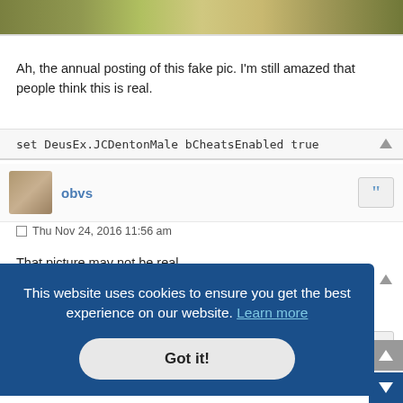[Figure (photo): Partial photo strip at top of page showing outdoor scene]
Ah, the annual posting of this fake pic. I'm still amazed that people think this is real.
set DeusEx.JCDentonMale bCheatsEnabled true
obvs
Thu Nov 24, 2016 11:56 am
That picture may not be real, but I have definitely seen lights that look exactly like that.
This website uses cookies to ensure you get the best experience on our website. Learn more
Got it!
Pithecanthropus wrote: